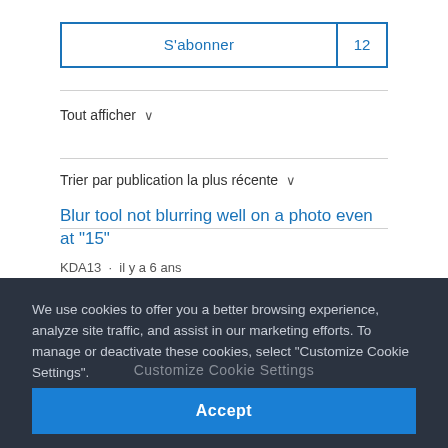[Figure (screenshot): Subscribe button row with blue border showing 'S'abonner' and badge '12']
Tout afficher ∨
Trier par publication la plus récente ∨
Blur tool not blurring well on a photo even at "15"
KDA13  ·  il y a 6 ans
We use cookies to offer you a better browsing experience, analyze site traffic, and assist in our marketing efforts. To manage or deactivate these cookies, select "Customize Cookie Settings".
Customize Cookie Settings
Accept